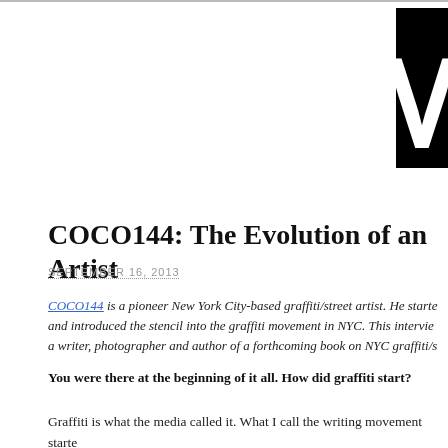STREET ART M
COCO144: The Evolution of an Artist
SEPTEMBER 16, 2013
COCO144 is a pioneer New York City-based graffiti/street artist. He starte and introduced the stencil into the graffiti movement in NYC. This intervie a writer, photographer and author of a forthcoming book on NYC graffiti/s
You were there at the beginning of it all. How did graffiti start?
Graffiti is what the media called it. What I call the writing movement starte